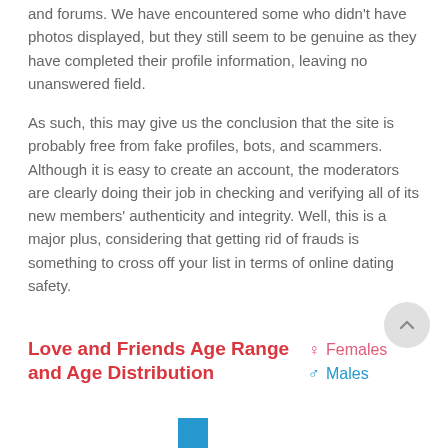and forums. We have encountered some who didn't have photos displayed, but they still seem to be genuine as they have completed their profile information, leaving no unanswered field.
As such, this may give us the conclusion that the site is probably free from fake profiles, bots, and scammers. Although it is easy to create an account, the moderators are clearly doing their job in checking and verifying all of its new members' authenticity and integrity. Well, this is a major plus, considering that getting rid of frauds is something to cross off your list in terms of online dating safety.
Love and Friends Age Range and Age Distribution
[Figure (other): Legend showing Females (pink, venus symbol) and Males (blue, mars symbol)]
[Figure (bar-chart): Partial bar chart visible at the bottom of the page, showing a blue bar]